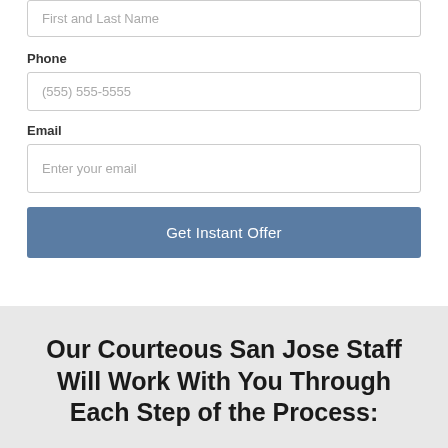First and Last Name
Phone
(555) 555-5555
Email
Enter your email
Get Instant Offer
Our Courteous San Jose Staff Will Work With You Through Each Step of the Process: